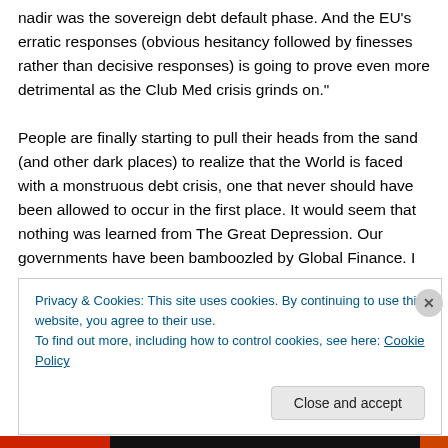nadir was the sovereign debt default phase. And the EU's erratic responses (obvious hesitancy followed by finesses rather than decisive responses) is going to prove even more detrimental as the Club Med crisis grinds on."
People are finally starting to pull their heads from the sand (and other dark places) to realize that the World is faced with a monstruous debt crisis, one that never should have been allowed to occur in the first place. It would seem that nothing was learned from The Great Depression. Our governments have been bamboozled by Global Finance. I
Privacy & Cookies: This site uses cookies. By continuing to use this website, you agree to their use.
To find out more, including how to control cookies, see here: Cookie Policy